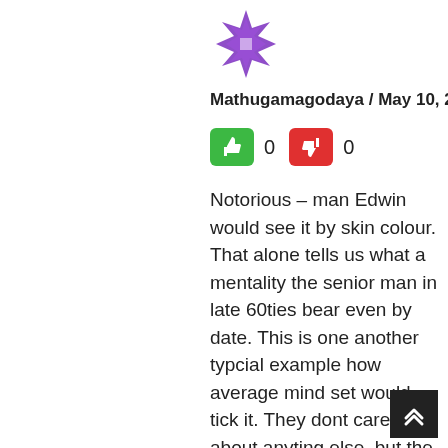[Figure (illustration): Purple geometric snowflake/star avatar icon]
Mathugamagodaya / May 10, 2018
[Figure (infographic): Green thumbs-up button with count 0, red thumbs-down button with count 0]
Notorious – man Edwin would see it by skin colour.
That alone tells us what a mentality the senior man in late 60ties bear even by date. This is one another typcial example how average mind set would tick it. They dont care about anyting else, but the appearence. Young lawyer holds her speeches by focusing almost every facets. That counts me more than anything else. SHe herself says how she started stand against injustice already being at a school going girl. All those refelet to me as well when thinking